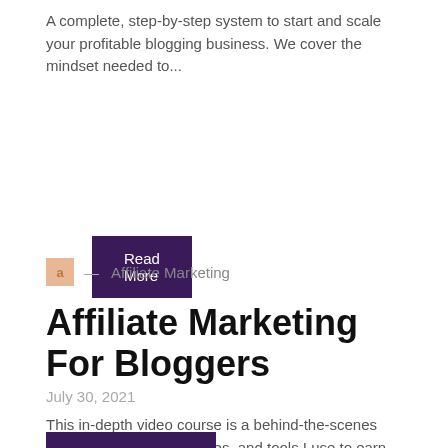A complete, step-by-step system to start and scale your profitable blogging business. We cover the mindset needed to...
Read More
a — Affiliate Marketing
Affiliate Marketing For Bloggers
July 30, 2021
This in-depth video course is a behind-the-scenes look at the setup, strategies, and tools I use to earn...